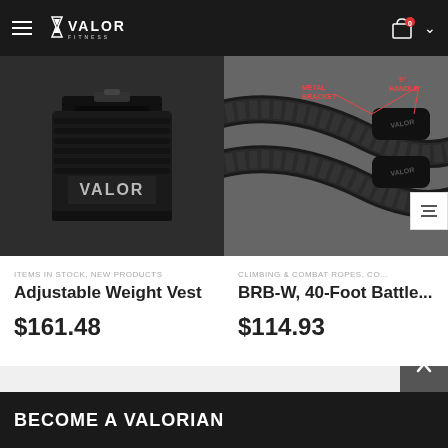Valor Fitness — navigation header with hamburger menu, logo, cart (0), and chevron
[Figure (photo): Black adjustable weight vest with VALOR branding on front panel]
[Figure (photo): BRB-W 40-Foot Battle Rope with metal bracket and 9-inch handle annotations in red]
ITEMS IN STOCK, NEW PRODUCTS
Adjustable Weight Vest
$161.48
CLIMBING & COMBAT ROPES, CO...
BRB-W, 40-Foot Battle...
$114.93
BECOME A VALORIAN